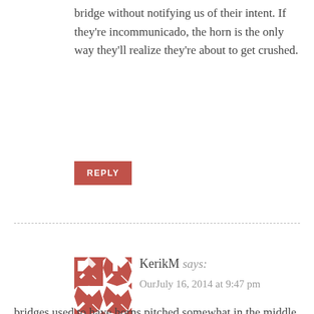bridge without notifying us of their intent. If they're incommunicado, the horn is the only way they'll realize they're about to get crushed.
REPLY
KerikM says:
OurJuly 16, 2014 at 9:47 pm
bridges used to have horns pitched somewhat in the middle of the keyboard. But now, at least some of them seem have been switched out for more treble versions, and not so loud–no doubt at the behest of waterside dwellers. Ferries